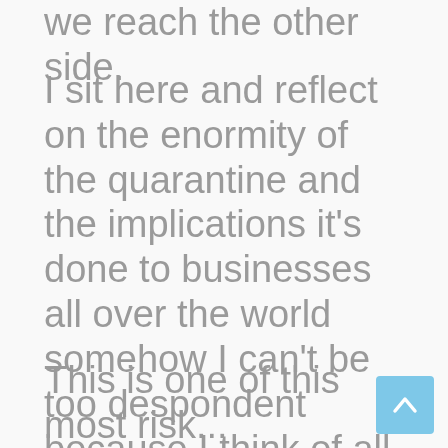we reach the other side.
I sit here and reflect on the enormity of the quarantine and the implications it’s done to businesses all over the world somehow I can’t be too despondent because I think of all the people who have died a horrible death on their own, with no family at their side, heartbreaking and all the frontline staff in the hospitals who have worked so hard under very difficult circumstances.
This is one of the most risk...